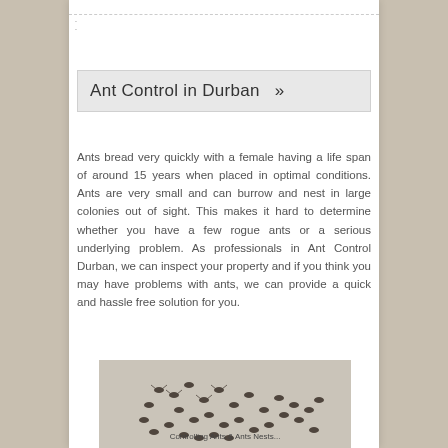Ant Control in Durban »
Ants bread very quickly with a female having a life span of around 15 years when placed in optimal conditions. Ants are very small and can burrow and nest in large colonies out of sight. This makes it hard to determine whether you have a few rogue ants or a serious underlying problem. As professionals in Ant Control Durban, we can inspect your property and if you think you may have problems with ants, we can provide a quick and hassle free solution for you.
[Figure (photo): Close-up photo of many ants clustered on a light-colored surface, with caption 'Controlling Ants & Ants Nests...']
Controlling Ants & Ants Nests...